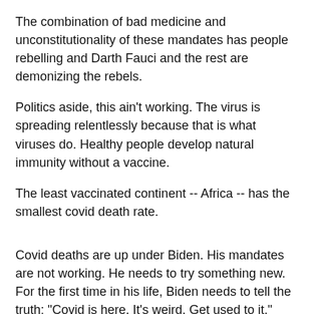The combination of bad medicine and unconstitutionality of these mandates has people rebelling and Darth Fauci and the rest are demonizing the rebels.
Politics aside, this ain't working. The virus is spreading relentlessly because that is what viruses do. Healthy people develop natural immunity without a vaccine.
The least vaccinated continent -- Africa -- has the smallest covid death rate.
Covid deaths are up under Biden. His mandates are not working. He needs to try something new. For the first time in his life, Biden needs to tell the truth: "Covid is here. It's weird. Get used to it."